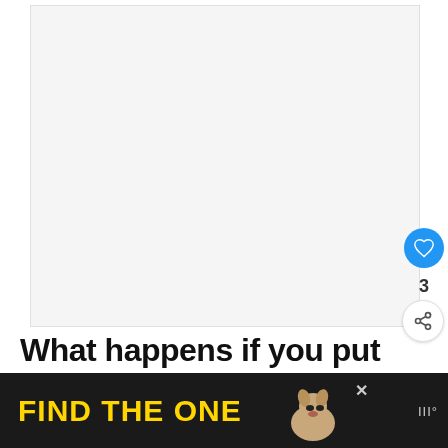[Figure (other): Large white/light gray empty image area, likely a loading or blank article image placeholder]
[Figure (other): Blue circular like/heart button icon]
3
[Figure (other): White circular share button with share icon]
What happens if you put bleach in a dishwasher?
[Figure (other): Ad banner: dark background with yellow text 'FIND THE ONE' and a dog image, close button, and app logo]